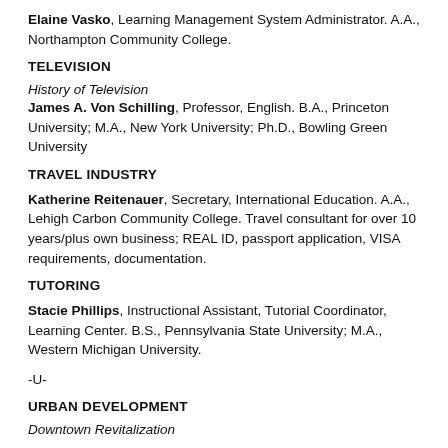Elaine Vasko, Learning Management System Administrator. A.A., Northampton Community College.
TELEVISION
History of Television
James A. Von Schilling, Professor, English. B.A., Princeton University; M.A., New York University; Ph.D., Bowling Green University
TRAVEL INDUSTRY
Katherine Reitenauer, Secretary, International Education. A.A., Lehigh Carbon Community College. Travel consultant for over 10 years/plus own business; REAL ID, passport application, VISA requirements, documentation.
TUTORING
Stacie Phillips, Instructional Assistant, Tutorial Coordinator, Learning Center. B.S., Pennsylvania State University; M.A., Western Michigan University.
-U-
URBAN DEVELOPMENT
Downtown Revitalization